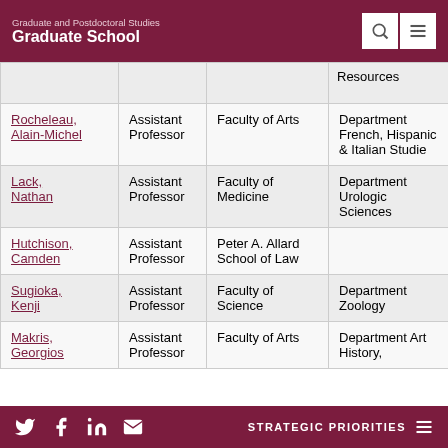Graduate and Postdoctoral Studies Graduate School
| Name | Title | Faculty | Department |
| --- | --- | --- | --- |
|  |  |  | Resources |
| Rocheleau, Alain-Michel | Assistant Professor | Faculty of Arts | Department French, Hispanic & Italian Studies |
| Lack, Nathan | Assistant Professor | Faculty of Medicine | Department Urologic Sciences |
| Hutchison, Camden | Assistant Professor | Peter A. Allard School of Law |  |
| Sugioka, Kenji | Assistant Professor | Faculty of Science | Department Zoology |
| Makris, Georgios | Assistant Professor | Faculty of Arts | Department Art History, |
STRATEGIC PRIORITIES